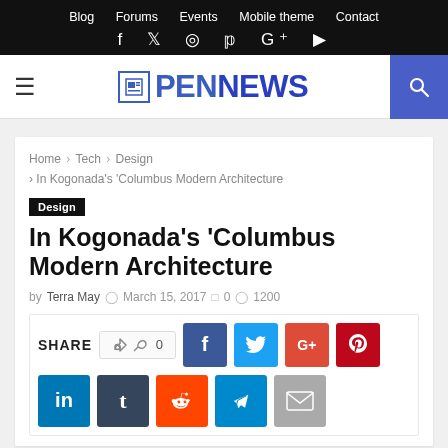Blog  Forums  Events  Mobile theme  Contact
PENNEWS
Home > Tech > Design > In Kogonada's 'Columbus Modern Architecture
Design
In Kogonada's 'Columbus Modern Architecture
by Terra May  March 15, 2017  0  1200
SHARE  0  f  t  G+  P  in  t  r  telegram  mail